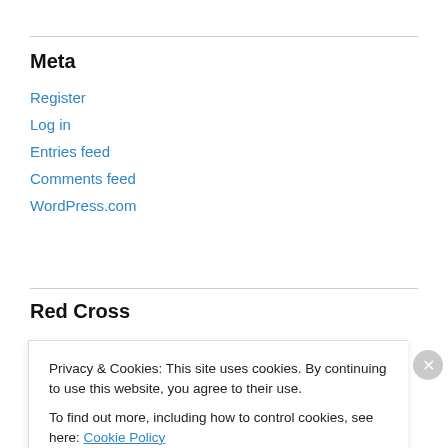Meta
Register
Log in
Entries feed
Comments feed
WordPress.com
Red Cross
[Figure (logo): Red Cross logo partially visible]
Privacy & Cookies: This site uses cookies. By continuing to use this website, you agree to their use.
To find out more, including how to control cookies, see here: Cookie Policy